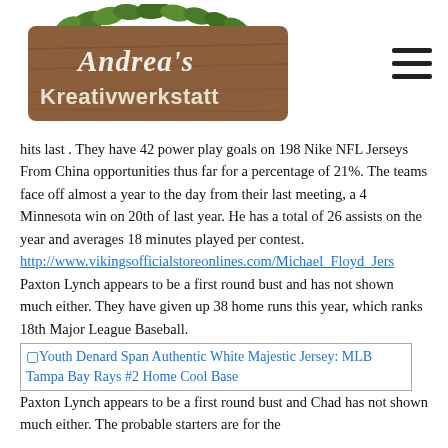[Figure (logo): Andrea's Kreativwerkstatt logo — a wooden sign with ivy, white cursive and serif text]
hits last . They have 42 power play goals on 198 Nike NFL Jerseys From China opportunities thus far for a percentage of 21%. The teams face off almost a year to the day from their last meeting, a 4 Minnesota win on 20th of last year. He has a total of 26 assists on the year and averages 18 minutes played per contest.
http://www.vikingsofficialstoreonlines.com/Michael_Floyd_Jers
Paxton Lynch appears to be a first round bust and has not shown much either. They have given up 38 home runs this year, which ranks 18th Major League Baseball.
[Figure (other): Broken image with alt text: Youth Denard Span Authentic White Majestic Jersey: MLB Tampa Bay Rays #2 Home Cool Base]
Paxton Lynch appears to be a first round bust and Chad has not shown much either. The probable starters are for the